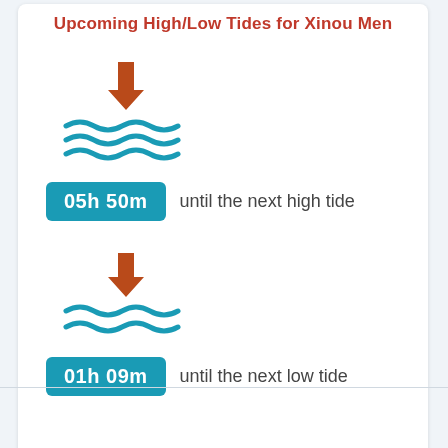Upcoming High/Low Tides for Xinou Men
[Figure (infographic): High tide icon: upward arrow in dark red/orange above three wavy lines in teal blue, representing rising water level.]
05h 50m until the next high tide
[Figure (infographic): Low tide icon: downward arrow in dark red/orange above two wavy lines in teal blue, representing falling water level.]
01h 09m until the next low tide